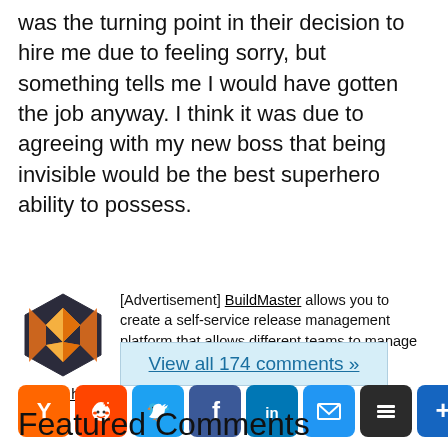was the turning point in their decision to hire me due to feeling sorry, but something tells me I would have gotten the job anyway. I think it was due to agreeing with my new boss that being invisible would be the best superhero ability to possess.
[Advertisement] BuildMaster allows you to create a self-service release management platform that allows different teams to manage their applications. Explore how!
View all 174 comments »
[Figure (infographic): Social sharing buttons: Hacker News (Y), Reddit, Twitter, Facebook, LinkedIn, Email, Buffer, and a plus/more button]
Featured Comments